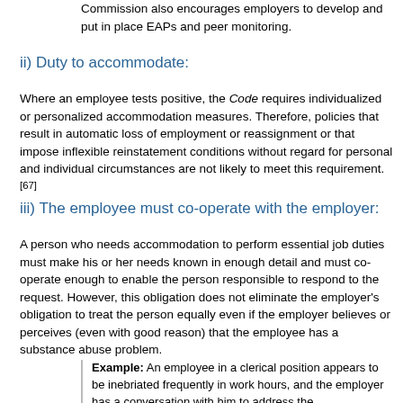Commission also encourages employers to develop and put in place EAPs and peer monitoring.
ii) Duty to accommodate:
Where an employee tests positive, the Code requires individualized or personalized accommodation measures. Therefore, policies that result in automatic loss of employment or reassignment or that impose inflexible reinstatement conditions without regard for personal and individual circumstances are not likely to meet this requirement.[67]
iii) The employee must co-operate with the employer:
A person who needs accommodation to perform essential job duties must make his or her needs known in enough detail and must co-operate enough to enable the person responsible to respond to the request. However, this obligation does not eliminate the employer's obligation to treat the person equally even if the employer believes or perceives (even with good reason) that the employee has a substance abuse problem.
Example: An employee in a clerical position appears to be inebriated frequently in work hours, and the employer has a conversation with him to address the